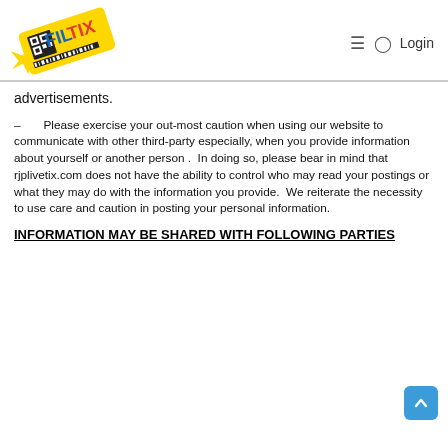[Figure (logo): FilTix logo — colorful ticket graphic with QR code and barcode, text FILTIX in blue and red letters on yellow ticket shape]
≡  ⊙  Login
advertisements.
– Please exercise your out-most caution when using our website to communicate with other third-party especially, when you provide information about yourself or another person. In doing so, please bear in mind that rjplivetix.com does not have the ability to control who may read your postings or what they may do with the information you provide. We reiterate the necessity to use care and caution in posting your personal information.
INFORMATION MAY BE SHARED WITH FOLLOWING PARTIES